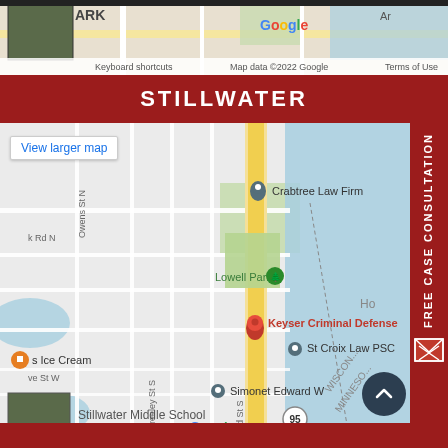[Figure (map): Top Google Maps strip showing park area with aerial thumbnail, keyboard shortcuts and map data attribution]
STILLWATER
[Figure (map): Google Map of Stillwater area showing Crabtree Law Firm, Lowell Park, Keyser Criminal Defense (red pin), St Croix Law PSC, Simonet Edward W, s Ice Cream, Wisconsin/Minnesota labels, Route 95, river, and aerial thumbnail in lower left. 'View larger map' link visible. Google branding and Map data 2022 attribution at bottom.]
FREE CASE CONSULTATION
View larger map